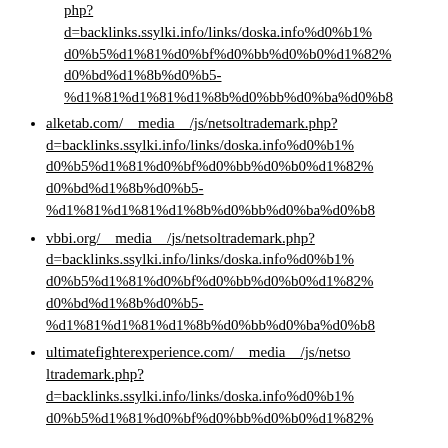php?d=backlinks.ssylki.info/links/doska.info%d0%b1%d0%b5%d1%81%d0%bf%d0%bb%d0%b0%d1%82%d0%bd%d1%8b%d0%b5-%d1%81%d1%81%d1%8b%d0%bb%d0%ba%d0%b8
alketab.com/__media__/js/netsoltrademark.php?d=backlinks.ssylki.info/links/doska.info%d0%b1%d0%b5%d1%81%d0%bf%d0%bb%d0%b0%d1%82%d0%bd%d1%8b%d0%b5-%d1%81%d1%81%d1%8b%d0%bb%d0%ba%d0%b8
vbbi.org/__media__/js/netsoltrademark.php?d=backlinks.ssylki.info/links/doska.info%d0%b1%d0%b5%d1%81%d0%bf%d0%bb%d0%b0%d1%82%d0%bd%d1%8b%d0%b5-%d1%81%d1%81%d1%8b%d0%bb%d0%ba%d0%b8
ultimatefighterexperience.com/__media__/js/netsoltrademark.php?d=backlinks.ssylki.info/links/doska.info%d0%b1%d0%b5%d1%81%d0%bf%d0%bb%d0%b0%d1%82%d0%bd%d1%8b%d0%b5-%d1%81%d1%81%d1%8b%d0%bb%d0%ba%d0%b8